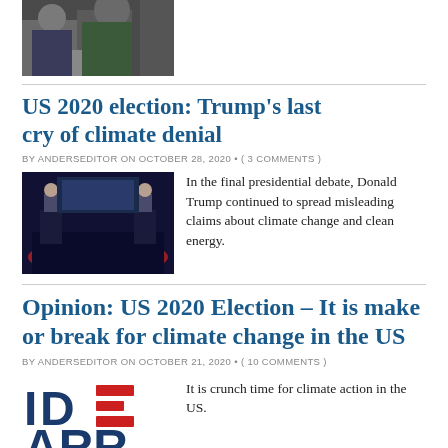[Figure (photo): Top partial photo of people, cropped at top of page]
US 2020 election: Trump's last cry of climate denial
BY ANDERSEDITOR ON OCTOBER 28, 2020 • ( 3 COMMENTS )
[Figure (photo): Photo of presidential debate stage with two candidates at podiums]
In the final presidential debate, Donald Trump continued to spread misleading claims about climate change and clean energy.
Opinion: US 2020 Election – It is make or break for climate change in the US
BY ANDERSEDITOR ON OCTOBER 21, 2020 • ( 10 COMMENTS )
[Figure (logo): IDE ARR logo with red stripes replacing letters E, styled in blue and red]
It is crunch time for climate action in the US.